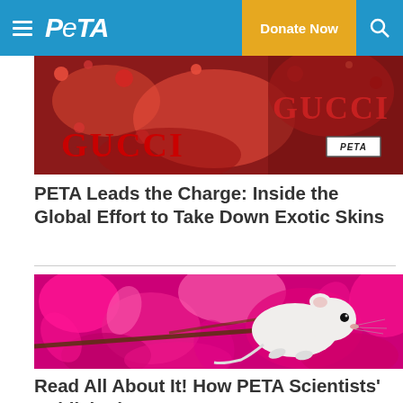PETA | Donate Now
[Figure (photo): Gucci protest photo showing demonstrators with red paint splattered on Gucci signage, with a PETA badge visible]
PETA Leads the Charge: Inside the Global Effort to Take Down Exotic Skins
[Figure (photo): White rat perched on a branch surrounded by vivid pink/magenta blossoms]
Read All About It! How PETA Scientists' Published